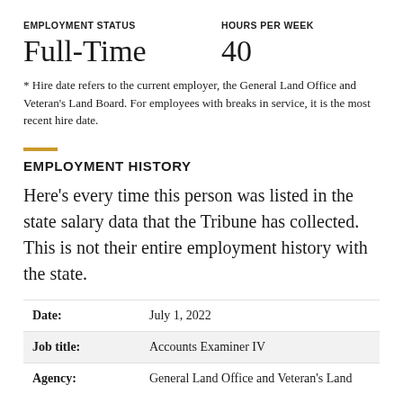EMPLOYMENT STATUS
Full-Time
HOURS PER WEEK
40
* Hire date refers to the current employer, the General Land Office and Veteran's Land Board. For employees with breaks in service, it is the most recent hire date.
EMPLOYMENT HISTORY
Here's every time this person was listed in the state salary data that the Tribune has collected. This is not their entire employment history with the state.
| Field | Value |
| --- | --- |
| Date: | July 1, 2022 |
| Job title: | Accounts Examiner IV |
| Agency: | General Land Office and Veteran's Land |